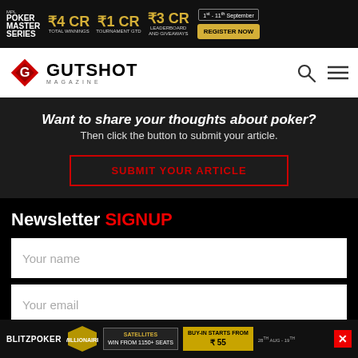[Figure (infographic): Poker Master Series top banner ad with MPL logo, prize amounts ₹4 CR total winnings, ₹1 CR tournament GTD, ₹3 CR leaderboard and giveaways, Register Now button, dates 1st - 11th September]
[Figure (logo): Gutshot Magazine logo with red diamond G icon, search icon and hamburger menu]
Want to share your thoughts about poker?
Then click the button to submit your article.
SUBMIT YOUR ARTICLE
Newsletter SIGNUP
Your name
Your email
SUBMIT
[Figure (infographic): BlitzPoker Millionaire Series bottom banner ad with satellites, win from 1150+ seats, buy-in starts from ₹55, dates 28th Aug - 19th, close X button]